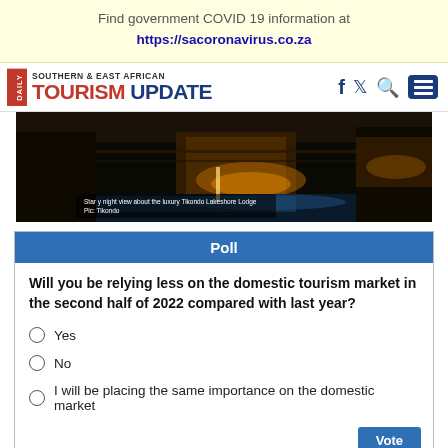Find government COVID 19 information at https://sacoronavirus.co.za
[Figure (logo): Daily Southern & East African Tourism Update logo with social media icons (Facebook, Twitter, Search, Menu)]
[Figure (photo): Night photo of what appears to be Tikondo Lakeshore Lodge, showing lit buildings and water at night]
Poll
Will you be relying less on the domestic tourism market in the second half of 2022 compared with last year?
Yes
No
I will be placing the same importance on the domestic market